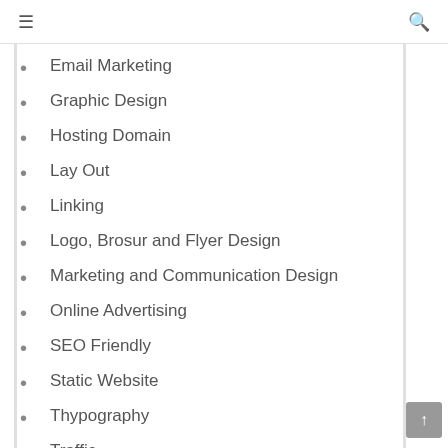≡  🔍
Email Marketing
Graphic Design
Hosting Domain
Lay Out
Linking
Logo, Brosur and Flyer Design
Marketing and Communication Design
Online Advertising
SEO Friendly
Static Website
Thypography
Traffic
Web Analysis
Web Design
Web Page